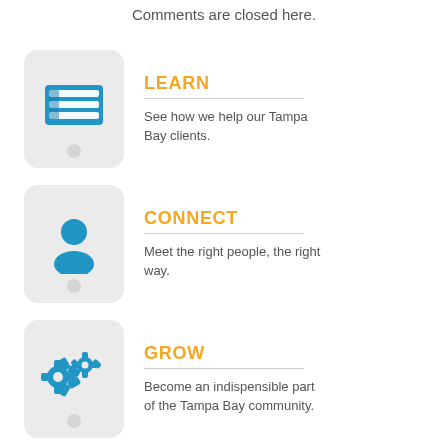Comments are closed here.
[Figure (infographic): Tablet icon with list/spreadsheet graphic representing LEARN section]
LEARN
See how we help our Tampa Bay clients.
[Figure (infographic): Tablet icon with person/user graphic representing CONNECT section]
CONNECT
Meet the right people, the right way.
[Figure (infographic): Tablet icon with gear/settings graphic representing GROW section]
GROW
Become an indispensible part of the Tampa Bay community.